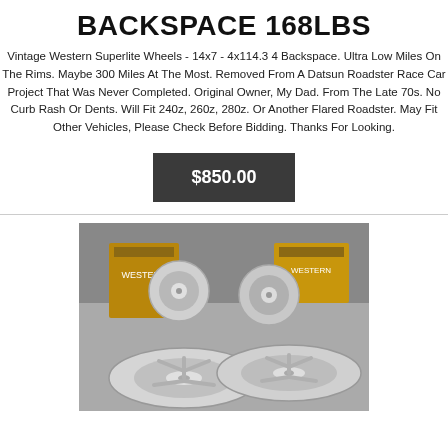BACKSPACE 168LBS
Vintage Western Superlite Wheels - 14x7 - 4x114.3 4 Backspace. Ultra Low Miles On The Rims. Maybe 300 Miles At The Most. Removed From A Datsun Roadster Race Car Project That Was Never Completed. Original Owner, My Dad. From The Late 70s. No Curb Rash Or Dents. Will Fit 240z, 260z, 280z. Or Another Flared Roadster. May Fit Other Vehicles, Please Check Before Bidding. Thanks For Looking.
$850.00
[Figure (photo): Four silver vintage Western Superlite alloy wheels arranged on a surface, with original brown cardboard boxes visible in the background.]